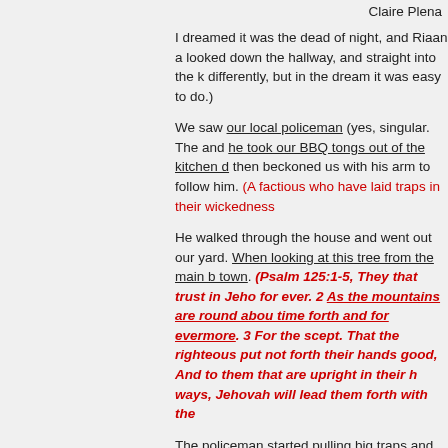Claire Plena
I dreamed it was the dead of night, and Riaan a looked down the hallway, and straight into the k differently, but in the dream it was easy to do.)
We saw our local policeman (yes, singular. The and he took our BBQ tongs out of the kitchen d then beckoned us with his arm to follow him. (A factious who have laid traps in their wickedness
He walked through the house and went out our yard. When looking at this tree from the main b town. (Psalm 125:1-5, They that trust in Jeho for ever. 2 As the mountains are round abou time forth and for evermore. 3 For the scept. That the righteous put not forth their hands good, And to them that are upright in their h ways, Jehovah will lead them forth with the
The policeman started pulling big traps and rus was doing, and shocked at how these traps ano fallen leaves. It was where my children play dai Tree; the source of their life.)
I said to him, “Why is all of this here?” And he r you”. (Yes, The factious want to kill their brethre the state are also cooking to kill us and take